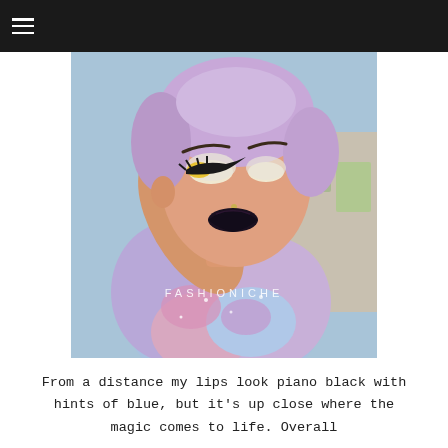[Figure (photo): Close-up portrait of a woman with lavender/purple short hair, dramatic makeup including dark/black lips, yellow and white eyeshadow with heavy black winged liner, wearing a tie-dye pastel galaxy print shirt. Background shows a room with various items. Watermark text 'FASHIONICHE' visible on image.]
From a distance my lips look piano black with hints of blue, but it's up close where the magic comes to life. Overall